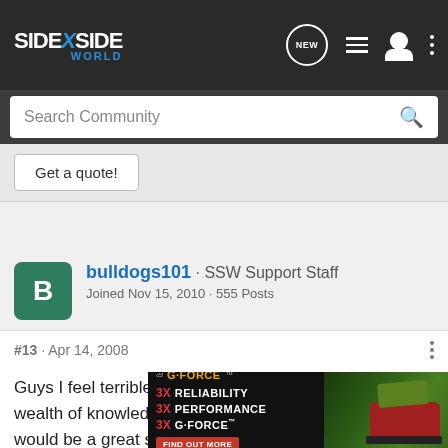SIDE X SIDE WORLD — navigation bar with logo, NEW button, list icon, user icon, more options
Search Community
Get a quote!
bulldogs101 · SSW Support Staff
Joined Nov 15, 2010 · 555 Posts
#13 · Apr 14, 2008
Guys I feel terrible about this. Steve has really been a wealth of knowledge on here and I agree with Mike, he would be a great sponsor. If he's having a little difficult time right now I hate that for him, but maybe he will come around when he finds out it was an [ad overlay] ys this or not, b[ad overlay]er
[Figure (screenshot): G-FORCE advertisement overlay: 3X RELIABILITY, 3X PERFORMANCE, 3X G-FORCE with FIND OUT MORE button and ATV photo]